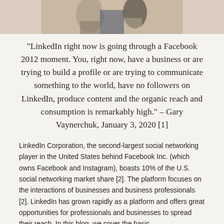[Figure (photo): Partial photo of people at the top of the page, showing shoulders and upper body]
“LinkedIn right now is going through a Facebook 2012 moment. You, right now, have a business or are trying to build a profile or are trying to communicate something to the world, have no followers on LinkedIn, produce content and the organic reach and consumption is remarkably high.” – Gary Vaynerchuk, January 3, 2020 [1]
LinkedIn Corporation, the second-largest social networking player in the United States behind Facebook Inc. (which owns Facebook and Instagram), boasts 10% of the U.S. social networking market share [2]. The platform focuses on the interactions of businesses and business professionals [2]. LinkedIn has grown rapidly as a platform and offers great opportunities for professionals and businesses to spread their reach. In this blog, we cover the basic